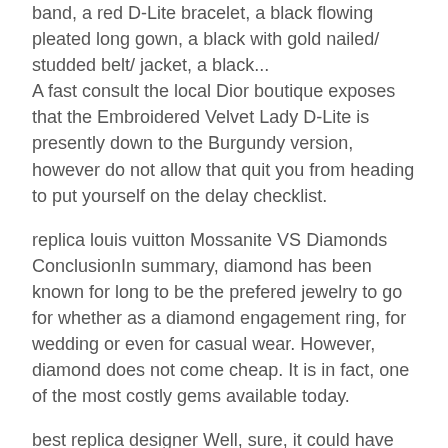band, a red D-Lite bracelet, a black flowing pleated long gown, a black with gold nailed/ studded belt/ jacket, a black... A fast consult the local Dior boutique exposes that the Embroidered Velvet Lady D-Lite is presently down to the Burgundy version, however do not allow that quit you from heading to put yourself on the delay checklist.
replica louis vuitton Mossanite VS Diamonds ConclusionIn summary, diamond has been known for long to be the prefered jewelry to go for whether as a diamond engagement ring, for wedding or even for casual wear. However, diamond does not come cheap. It is in fact, one of the most costly gems available today.
best replica designer Well, sure, it could have been an email. But then you wouldn't have had Chadwick Boseman's eloquent widow, bringing many to tears as she explained how she could never be as eloquent as her late husband. Or Jane Fonda, sharply calling out Hollywood for its lack of diversity on a night when her very hosts were under fire for exactly that.
high quality designer replica